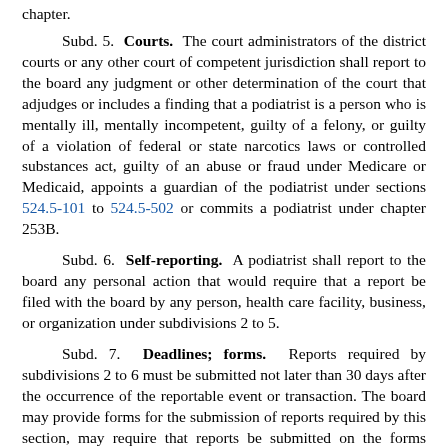chapter.
Subd. 5. Courts. The court administrators of the district courts or any other court of competent jurisdiction shall report to the board any judgment or other determination of the court that adjudges or includes a finding that a podiatrist is a person who is mentally ill, mentally incompetent, guilty of a felony, or guilty of a violation of federal or state narcotics laws or controlled substances act, guilty of an abuse or fraud under Medicare or Medicaid, appoints a guardian of the podiatrist under sections 524.5-101 to 524.5-502 or commits a podiatrist under chapter 253B.
Subd. 6. Self-reporting. A podiatrist shall report to the board any personal action that would require that a report be filed with the board by any person, health care facility, business, or organization under subdivisions 2 to 5.
Subd. 7. Deadlines; forms. Reports required by subdivisions 2 to 6 must be submitted not later than 30 days after the occurrence of the reportable event or transaction. The board may provide forms for the submission of reports required by this section, may require that reports be submitted on the forms provided, and may adopt rules pursuant to chapter